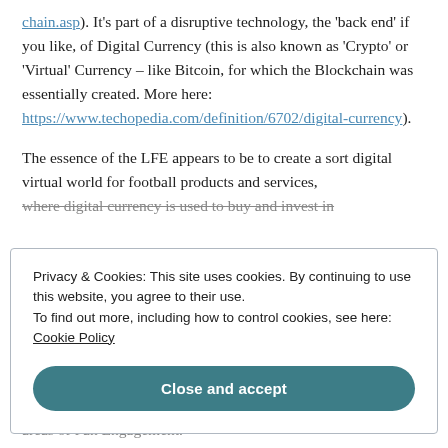chain.asp). It's part of a disruptive technology, the 'back end' if you like, of Digital Currency (this is also known as 'Crypto' or 'Virtual' Currency – like Bitcoin, for which the Blockchain was essentially created. More here: https://www.techopedia.com/definition/6702/digital-currency).
The essence of the LFE appears to be to create a sort digital virtual world for football products and services, where digital currency is used to buy and invest in
Privacy & Cookies: This site uses cookies. By continuing to use this website, you agree to their use.
To find out more, including how to control cookies, see here: Cookie Policy
Close and accept
areas of Fan Engagement.